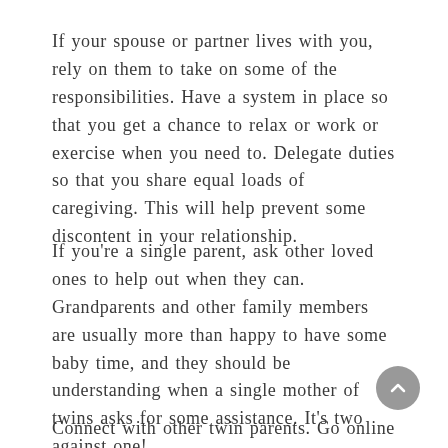If your spouse or partner lives with you, rely on them to take on some of the responsibilities. Have a system in place so that you get a chance to relax or work or exercise when you need to. Delegate duties so that you share equal loads of caregiving. This will help prevent some discontent in your relationship.
If you're a single parent, ask other loved ones to help out when they can. Grandparents and other family members are usually more than happy to have some baby time, and they should be understanding when a single mother of twins asks for some assistance. It's two against one!
Connect with other twin parents. Go online and